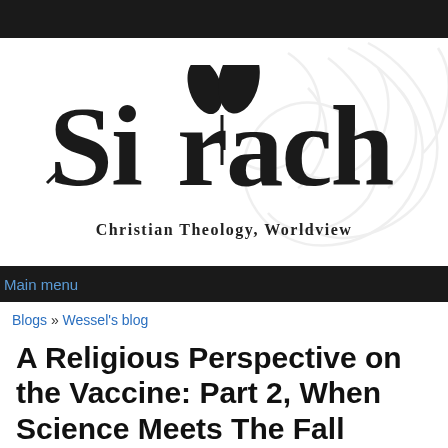[Figure (logo): Sirach logo with stylized text and plant leaves, with decorative swirl background. Tagline: Christian Theology, Worldview]
Main menu
Blogs » Wessel's blog
A Religious Perspective on the Vaccine: Part 2, When Science Meets The Fall